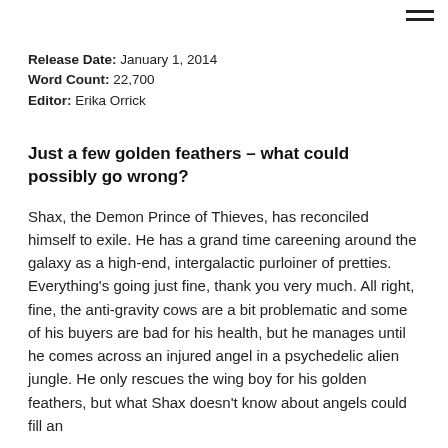Release Date: January 1, 2014
Word Count: 22,700
Editor: Erika Orrick
Just a few golden feathers – what could possibly go wrong?
Shax, the Demon Prince of Thieves, has reconciled himself to exile. He has a grand time careening around the galaxy as a high-end, intergalactic purloiner of pretties. Everything's going just fine, thank you very much. All right, fine, the anti-gravity cows are a bit problematic and some of his buyers are bad for his health, but he manages until he comes across an injured angel in a psychedelic alien jungle. He only rescues the wing boy for his golden feathers, but what Shax doesn't know about angels could fill an